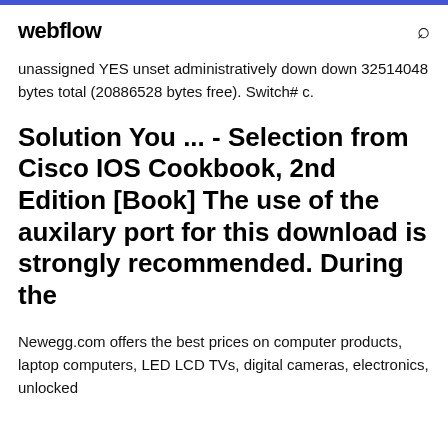webflow
unassigned YES unset administratively down down 32514048 bytes total (20886528 bytes free). Switch# c.
Solution You ... - Selection from Cisco IOS Cookbook, 2nd Edition [Book] The use of the auxilary port for this download is strongly recommended. During the
Newegg.com offers the best prices on computer products, laptop computers, LED LCD TVs, digital cameras, electronics, unlocked